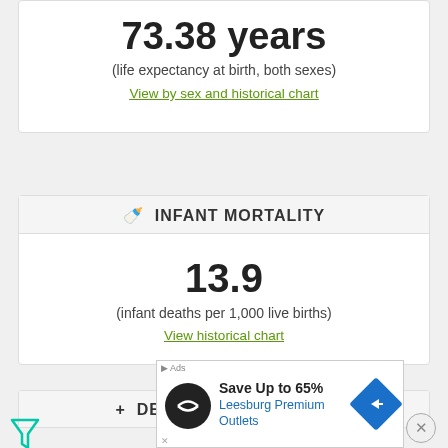73.38 years
(life expectancy at birth, both sexes)
View by sex and historical chart
INFANT MORTALITY
13.9
(infant deaths per 1,000 live births)
View historical chart
DEATHS UNDER AGE 5
18.1
[Figure (infographic): Advertisement banner: Save Up to 65% Leesburg Premium Outlets with logo and direction icon]